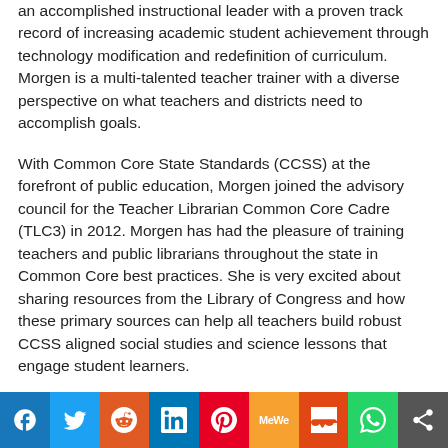an accomplished instructional leader with a proven track record of increasing academic student achievement through technology modification and redefinition of curriculum. Morgen is a multi-talented teacher trainer with a diverse perspective on what teachers and districts need to accomplish goals.

With Common Core State Standards (CCSS) at the forefront of public education, Morgen joined the advisory council for the Teacher Librarian Common Core Cadre (TLC3) in 2012. Morgen has had the pleasure of training teachers and public librarians throughout the state in Common Core best practices. She is very excited about sharing resources from the Library of Congress and how these primary sources can help all teachers build robust CCSS aligned social studies and science lessons that engage student learners.
[Figure (other): Social media sharing bar with buttons for Facebook, Twitter, Reddit, LinkedIn, Pinterest, MeWe, Mix, WhatsApp, and More/Share]